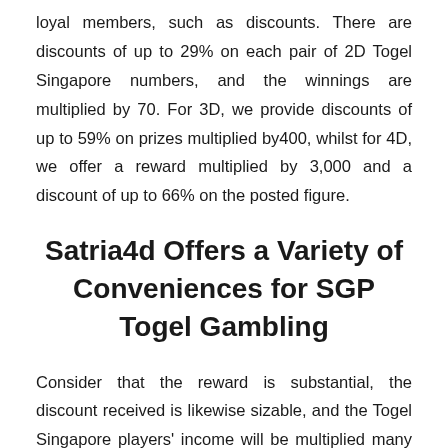loyal members, such as discounts. There are discounts of up to 29% on each pair of 2D Togel Singapore numbers, and the winnings are multiplied by 70. For 3D, we provide discounts of up to 59% on prizes multiplied by400, whilst for 4D, we offer a reward multiplied by 3,000 and a discount of up to 66% on the posted figure.
Satria4d Offers a Variety of Conveniences for SGP Togel Gambling
Consider that the reward is substantial, the discount received is likewise sizable, and the Togel Singapore players' income will be multiplied many times over. Another convenience is the service in the form of a smartphone application, which you can download from the official webpage of our SGP lottery.